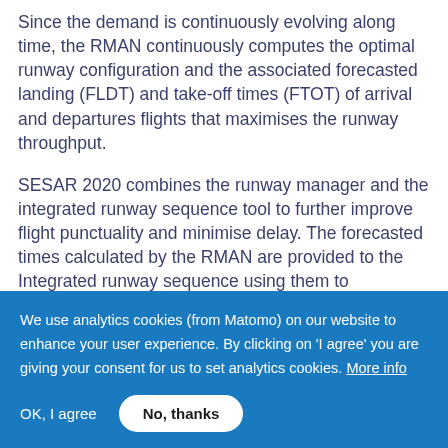Since the demand is continuously evolving along time, the RMAN continuously computes the optimal runway configuration and the associated forecasted landing (FLDT) and take-off times (FTOT) of arrival and departures flights that maximises the runway throughput.
SESAR 2020 combines the runway manager and the integrated runway sequence tool to further improve flight punctuality and minimise delay. The forecasted times calculated by the RMAN are provided to the Integrated runway sequence using them to
We use analytics cookies (from Matomo) on our website to enhance your user experience. By clicking on 'I agree' you are giving your consent for us to set analytics cookies. More info